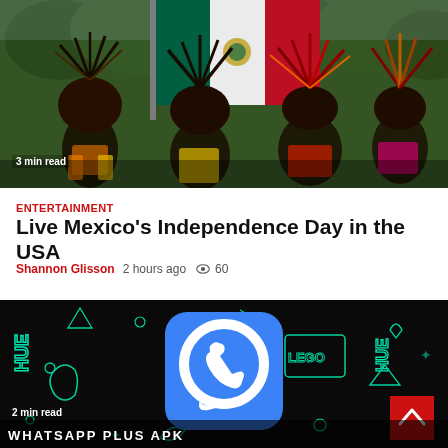[Figure (photo): Aztec dancers in traditional feathered headdresses with Mexican flag at a parade outdoors]
3 min read
ENTERTAINMENT
Live Mexico's Independence Day in the USA
Shannon Glisson  2 hours ago  👁 60
[Figure (screenshot): WhatsApp icon (blue rounded square with white phone handset in chat bubble) over dark background with teal neon doodles including HUE text and Lego logo outlines]
2 min read